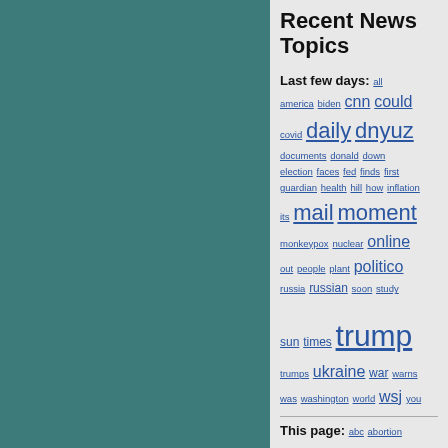[Figure (other): Teal/dark cyan colored rectangular panel on the left side of the page]
Recent News Topics
Last few days:
all america biden cnn could covid daily dnyuz documents donald down election faces fed finds first guardian health hill how inflation its mail moment monkeypox nuclear online out people plant politico russia russian soon study sun times trump trumps ukraine war warns was washington world wsj you
This page:
abc abortion adam adds against age allegedly american angeles app appears archive asked august ban bbc